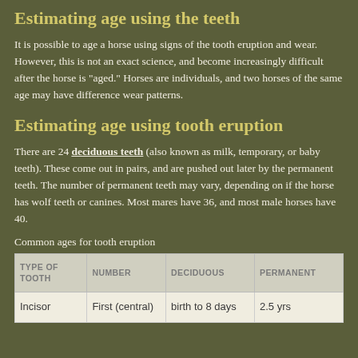Estimating age using the teeth
It is possible to age a horse using signs of the tooth eruption and wear. However, this is not an exact science, and become increasingly difficult after the horse is "aged." Horses are individuals, and two horses of the same age may have difference wear patterns.
Estimating age using tooth eruption
There are 24 deciduous teeth (also known as milk, temporary, or baby teeth). These come out in pairs, and are pushed out later by the permanent teeth. The number of permanent teeth may vary, depending on if the horse has wolf teeth or canines. Most mares have 36, and most male horses have 40.
Common ages for tooth eruption
| TYPE OF TOOTH | NUMBER | DECIDUOUS | PERMANENT |
| --- | --- | --- | --- |
| Incisor | First (central) | birth to 8 days | 2.5 yrs |